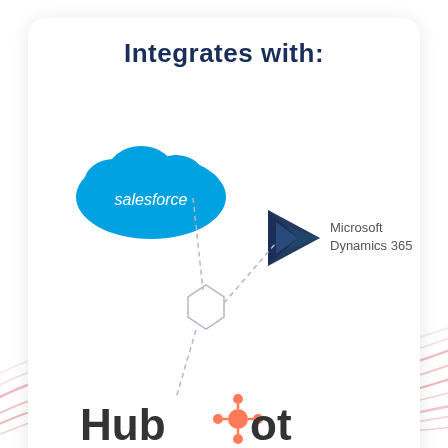Integrates with:
[Figure (infographic): Integration diagram showing Salesforce, Microsoft Dynamics 365, and HubSpot logos connected by dashed lines through a central node. Salesforce (blue cloud logo) top-left, Microsoft Dynamics 365 (dark blue triangle logo) top-right, HubSpot (dark text with orange sprocket) bottom-left, all connected to a central diamond/hexagon node with dashed lines.]
[Figure (illustration): Pink/red wave curves decorating the bottom portion of the page background.]